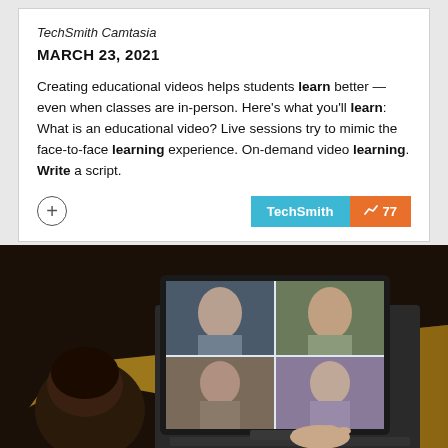TechSmith Camtasia
MARCH 23, 2021
Creating educational videos helps students learn better — even when classes are in-person. Here's what you'll learn: What is an educational video? Live sessions try to mimic the face-to-face learning experience. On-demand video learning. Write a script.
[Figure (photo): Person viewed from behind sitting at a wooden desk using a laptop/tablet device showing a video conference call with multiple participants (children and teens) on the screen.]